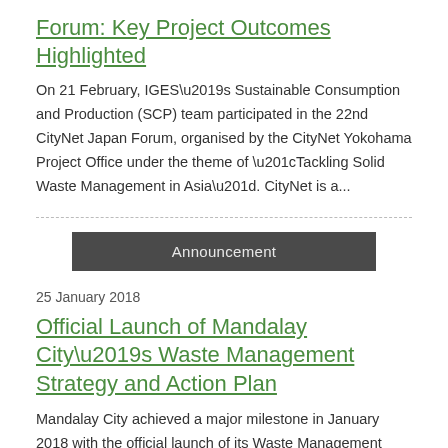Forum: Key Project Outcomes Highlighted
On 21 February, IGES’s Sustainable Consumption and Production (SCP) team participated in the 22nd CityNet Japan Forum, organised by the CityNet Yokohama Project Office under the theme of “Tackling Solid Waste Management in Asia”. CityNet is a...
Announcement
25 January 2018
Official Launch of Mandalay City’s Waste Management Strategy and Action Plan
Mandalay City achieved a major milestone in January 2018 with the official launch of its Waste Management Strategy and Action Plan (2017-2030). Prepared with technical assistance from the